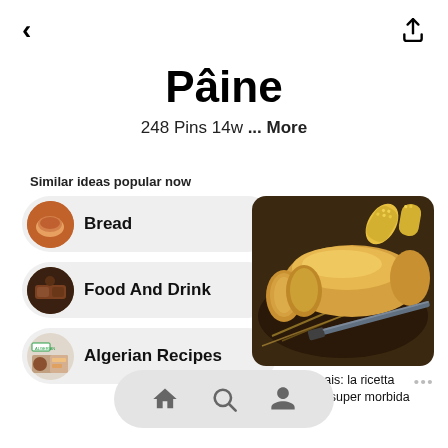< (back) and share icon
Pâine
248 Pins 14w ... More
Similar ideas popular now
Bread
Food And Drink
Algerian Recipes
[Figure (photo): Sliced cornbread loaf on a dark tray with corn cobs and wheat stalks, with a knife visible]
Pane di mais: la ricetta americana super morbida e...
Navigation bar with home, search, and profile icons